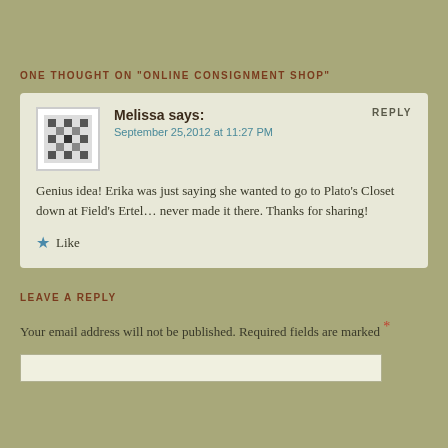ONE THOUGHT ON "ONLINE CONSIGNMENT SHOP"
Melissa says:
September 25,2012 at 11:27 PM
Genius idea! Erika was just saying she wanted to go to Plato's Closet down at Field's Ertel... never made it there. Thanks for sharing!
Like
LEAVE A REPLY
Your email address will not be published. Required fields are marked *